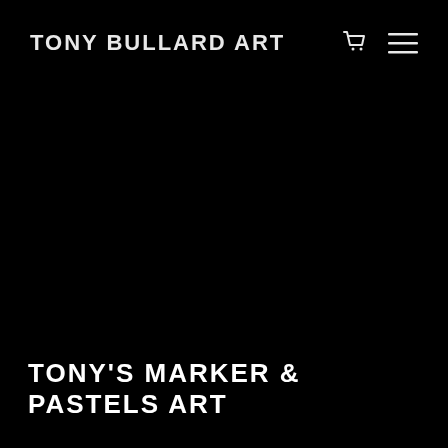TONY BULLARD ART
TONY'S MARKER & PASTELS ART